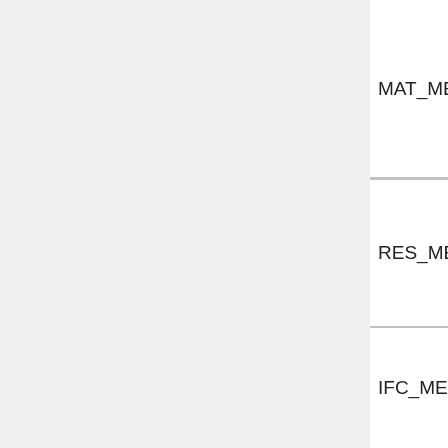| Parameter | Count | Description |
| --- | --- | --- |
| MAT_MEMSIZE | 1 | used for storing material-wi... data |
| RES_MEMSIZE | 1 | Memory si... used for storing res... |
| IFC_MEMSIZE | 1 | Memory si... used for da... for respons... matrix solv... |
| MISC_MEMSIZE | 1 | Memory si... used for da... for miscellane... data |
| UNKNOWN_MEMSIZE | 1 | Memory si... used for da... for uncategoriz... |